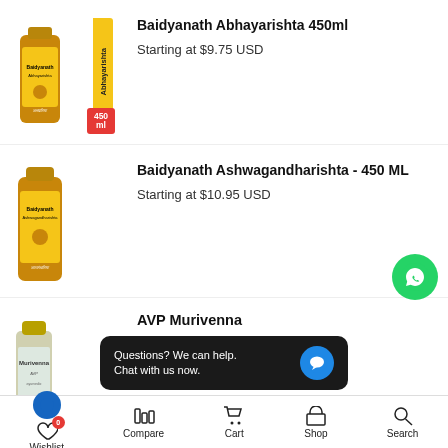[Figure (photo): Baidyanath Abhayarishta 450ml bottle with yellow band label and red 450ml badge]
Baidyanath Abhayarishta 450ml
Starting at $9.75 USD
[Figure (photo): Baidyanath Ashwagandharishta 450ml bottle]
Baidyanath Ashwagandharishta - 450 ML
Starting at $10.95 USD
[Figure (photo): AVP Murivenna bottle, small with light label]
AVP Murivenna
$7.55 USD  $9.44 USD  -20%
Questions? We can help.
Chat with us now.
Wishlist  Compare  Cart  Shop  Search